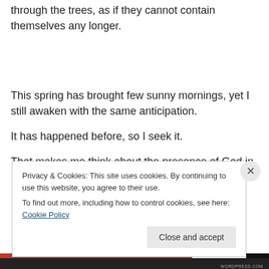through the trees, as if they cannot contain themselves any longer.
This spring has brought few sunny mornings, yet I still awaken with the same anticipation.
It has happened before, so I seek it.
That makes me think about the presence of God in our
Privacy & Cookies: This site uses cookies. By continuing to use this website, you agree to their use. To find out more, including how to control cookies, see here: Cookie Policy
Close and accept